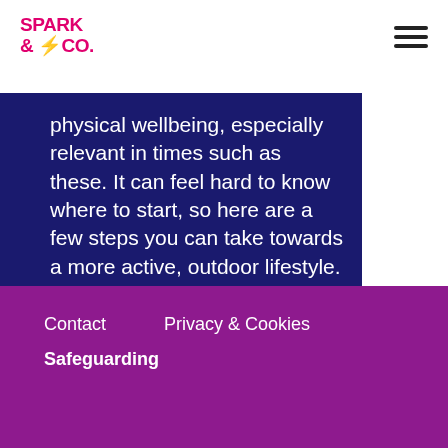SPARK & CO.
physical wellbeing, especially relevant in times such as these. It can feel hard to know where to start, so here are a few steps you can take towards a more active, outdoor lifestyle. From working out in
Read more
Contact  Privacy & Cookies  Safeguarding